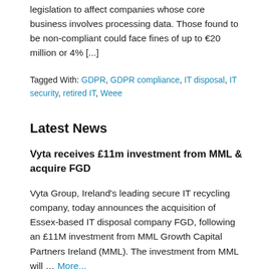legislation to affect companies whose core business involves processing data. Those found to be non-compliant could face fines of up to €20 million or 4% [...]
Tagged With: GDPR, GDPR compliance, IT disposal, IT security, retired IT, Weee
Latest News
Vyta receives £11m investment from MML & acquire FGD
Vyta Group, Ireland's leading secure IT recycling company, today announces the acquisition of Essex-based IT disposal company FGD, following an £11M investment from MML Growth Capital Partners Ireland (MML). The investment from MML will … More...